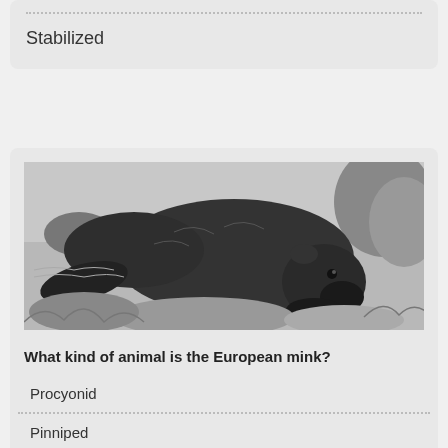Stabilized
[Figure (illustration): Black and white engraving illustration of a European mink animal near water with rocks and vegetation in the background]
What kind of animal is the European mink?
Procyonid
Pinniped
Viverrid